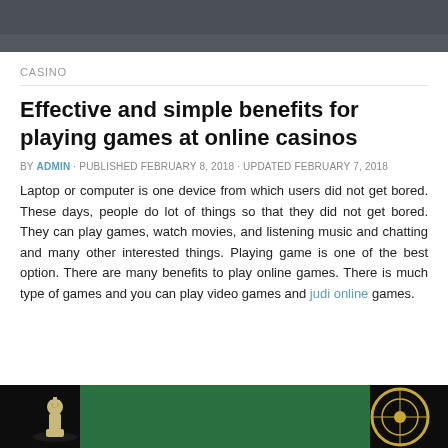CASINO
Effective and simple benefits for playing games at online casinos
BY ADMIN · PUBLISHED FEBRUARY 8, 2018 · UPDATED FEBRUARY 7, 2018
Laptop or computer is one device from which users did not get bored. These days, people do lot of things so that they did not get bored. They can play games, watch movies, and listening music and chatting and many other interested things. Playing game is one of the best option. There are many benefits to play online games. There is much type of games and you can play video games and judi online games.
[Figure (photo): Dark image showing a chess piece on the left and a roulette wheel element on the right, with a green casino table surface in the middle]